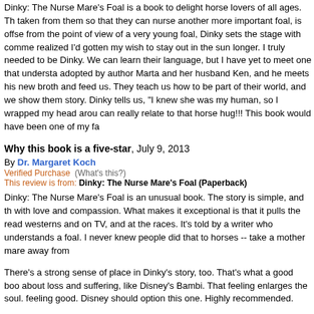Dinky: The Nurse Mare's Foal is a book to delight horse lovers of all ages. Th... taken from them so that they can nurse another more important foal, is offse... from the point of view of a very young foal, Dinky sets the stage with comme... realized I'd gotten my wish to stay out in the sun longer. I truly needed to be... Dinky. We can learn their language, but I have yet to meet one that understa... adopted by author Marta and her husband Ken, and he meets his new broth... and feed us. They teach us how to be part of their world, and we show them... story. Dinky tells us, "I knew she was my human, so I wrapped my head arou... can really relate to that horse hug!!! This book would have been one of my fa...
Why this book is a five-star, July 9, 2013
By Dr. Margaret Koch
Verified Purchase  (What's this?)
This review is from: Dinky: The Nurse Mare's Foal (Paperback)
Dinky: The Nurse Mare's Foal is an unusual book. The story is simple, and th... with love and compassion. What makes it exceptional is that it pulls the read... westerns and on TV, and at the races. It's told by a writer who understands a... foal. I never knew people did that to horses -- take a mother mare away from...
There's a strong sense of place in Dinky's story, too. That's what a good boo... about loss and suffering, like Disney's Bambi. That feeling enlarges the soul... feeling good. Disney should option this one. Highly recommended.
Dinky, June 5, 2013
By teamster
Verified Purchase  (What's this?)
This review is from: Dinky: The Nurse Mare's Foal (Kindle Edition)